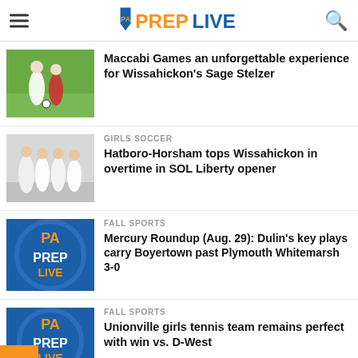PA PrepLive
[Figure (photo): Soccer players on field, one in white and one in red competing for ball]
Maccabi Games an unforgettable experience for Wissahickon's Sage Stelzer
[Figure (photo): Girls soccer team group huddle in white uniforms]
GIRLS SOCCER
Hatboro-Horsham tops Wissahickon in overtime in SOL Liberty opener
[Figure (logo): PA PrepLive logo badge in blue and orange]
FALL SPORTS
Mercury Roundup (Aug. 29): Dulin's key plays carry Boyertown past Plymouth Whitemarsh 3-0
[Figure (logo): PA PrepLive logo badge in blue and orange]
FALL SPORTS
Unionville girls tennis team remains perfect with win vs. D-West
[Figure (photo): Partial photo visible at bottom]
FALL SPORTS